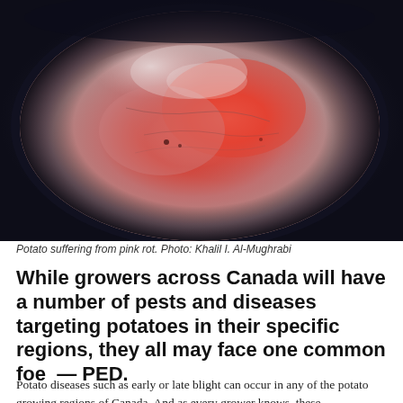[Figure (photo): Close-up photo of a potato cross-section showing pink rot disease. The potato has a dark outer skin and a pink-to-red discoloration in the flesh, indicating fungal disease. Photo by Khalil I. Al-Mughrabi.]
Potato suffering from pink rot. Photo: Khalil I. Al-Mughrabi
While growers across Canada will have a number of pests and diseases targeting potatoes in their specific regions, they all may face one common foe  — PED.
Potato diseases such as early or late blight can occur in any of the potato growing regions of Canada. And as every grower knows, these,